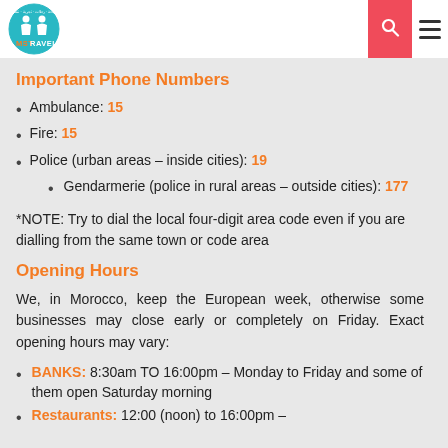MST Travels logo and navigation header
Important Phone Numbers
Ambulance: 15
Fire: 15
Police (urban areas – inside cities): 19
Gendarmerie (police in rural areas – outside cities): 177
*NOTE: Try to dial the local four-digit area code even if you are dialling from the same town or code area
Opening Hours
We, in Morocco, keep the European week, otherwise some businesses may close early or completely on Friday. Exact opening hours may vary:
BANKS: 8:30am TO 16:00pm - Monday to Friday and some of them open Saturday morning
Restaurants: 12:00 (noon) to 16:00pm -